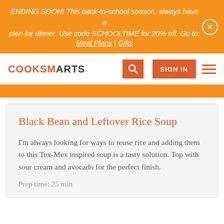ENDING SOON! This back-to-school season, always have a plan for dinner. Use code SCHOOLTIME for 20% off. Go to: Meal Plans | Gifts
[Figure (logo): CookSmarts logo with navigation bar including search icon, SIGN IN button, and hamburger menu]
Black Bean and Leftover Rice Soup
I'm always looking for ways to reuse rice and adding them to this Tex-Mex inspired soup is a tasty solution. Top with sour cream and avocado for the perfect finish.
Prep time: 25 min